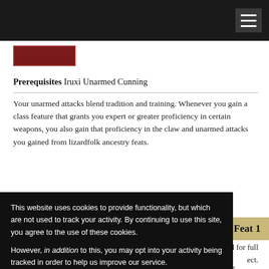Prerequisites Iruxi Unarmed Cunning
Your unarmed attacks blend tradition and training. Whenever you gain a class feature that grants you expert or greater proficiency in certain weapons, you also gain that proficiency in the claw and unarmed attacks you gained from lizardfolk ancestry feats.
Feat 1
terial for full
ect.
ll
to any observing creatures' Perception DCs. On a success, that creature
This website uses cookies to provide functionality, but which are not used to track your activity. By continuing to use this site, you agree to the use of these cookies.

However, in addition to this, you may opt into your activity being tracked in order to help us improve our service.

For more information, please click here